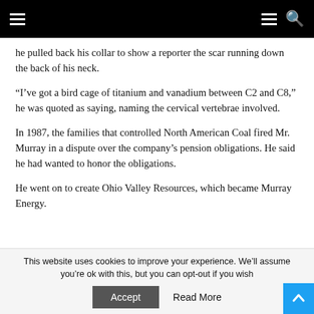Navigation bar with hamburger menu and search icon
he pulled back his collar to show a reporter the scar running down the back of his neck.
“I’ve got a bird cage of titanium and vanadium between C2 and C8,” he was quoted as saying, naming the cervical vertebrae involved.
In 1987, the families that controlled North American Coal fired Mr. Murray in a dispute over the company’s pension obligations. He said he had wanted to honor the obligations.
He went on to create Ohio Valley Resources, which became Murray Energy.
This website uses cookies to improve your experience. We’ll assume you’re ok with this, but you can opt-out if you wish